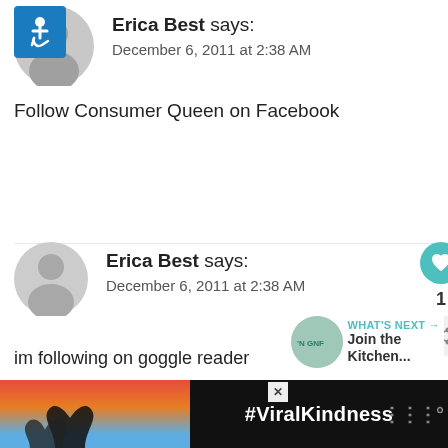Erica Best says: December 6, 2011 at 2:38 AM
Follow Consumer Queen on Facebook
Erica Best says: December 6, 2011 at 2:38 AM
im following on goggle reader
[Figure (screenshot): Ad banner at the bottom with a heart-hands silhouette image and #ViralKindness text on dark background]